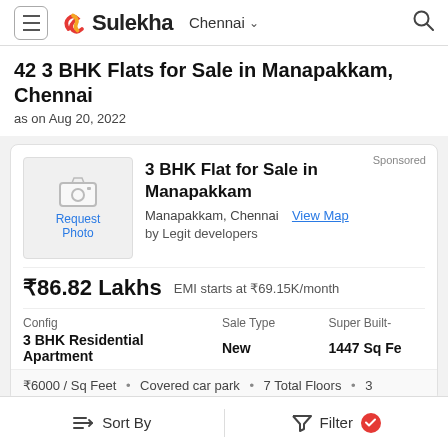Sulekha — Chennai
42 3 BHK Flats for Sale in Manapakkam, Chennai
as on Aug 20, 2022
Sponsored
[Figure (photo): Request Photo placeholder image with camera icon]
3 BHK Flat for Sale in Manapakkam
Manapakkam, Chennai  View Map
by Legit developers
₹86.82 Lakhs   EMI starts at ₹69.15K/month
| Config | Sale Type | Super Built- |
| --- | --- | --- |
| 3 BHK Residential Apartment | New | 1447 Sq Fe |
₹6000 / Sq Feet  •  Covered car park  •  7 Total Floors  •  3
Sort By    Filter